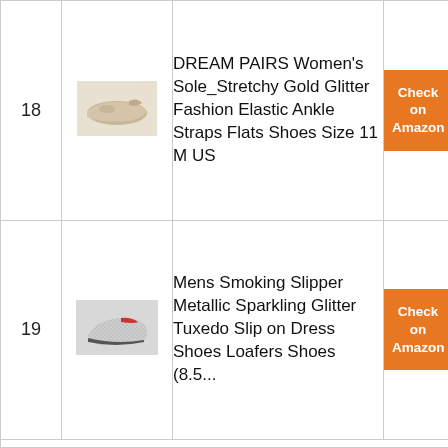| # | Image | Product | Link |
| --- | --- | --- | --- |
| 18 | [shoe image] | DREAM PAIRS Women's Sole_Stretchy Gold Glitter Fashion Elastic Ankle Straps Flats Shoes Size 11 M US | Check on Amazon |
| 19 | [shoe image] | Mens Smoking Slipper Metallic Sparkling Glitter Tuxedo Slip on Dress Shoes Loafers Shoes (8.5... | Check on Amazon |